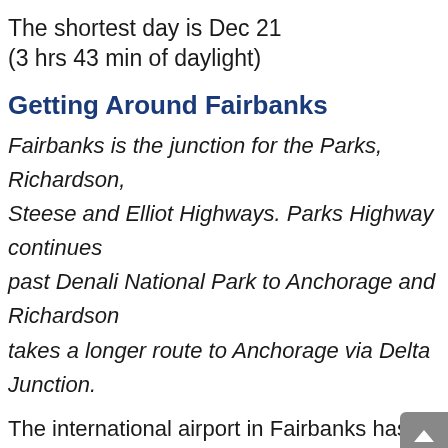The shortest day is Dec 21
(3 hrs 43 min of daylight)
Getting Around Fairbanks
Fairbanks is the junction for the Parks, Richardson, Steese and Elliot Highways. Parks Highway continues past Denali National Park to Anchorage and Richardson takes a longer route to Anchorage via Delta Junction.
The international airport in Fairbanks has frequent flights within Alaska and to the lower 48, as well as international flights to and from Japan and Germany. The airport is about a 15 minute drive from downtown Fairbanks.